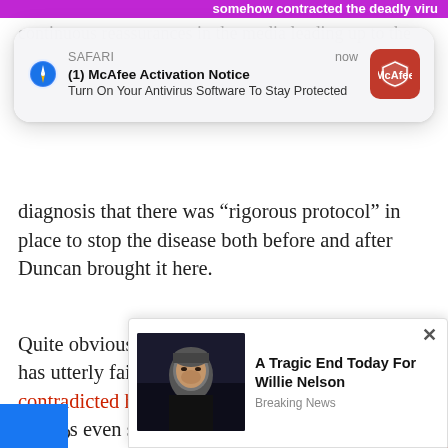[Figure (screenshot): Safari browser notification popup: '(1) McAfee Activation Notice — Turn On Your Antivirus Software To Stay Protected' with McAfee red icon, timestamped 'now']
continuous reassurances in the media leading up to the diagnosis that there was “rigorous protocol” in place to stop the disease both before and after Duncan brought it here.
Quite obviously the CDC’s “rigorous protocol” has utterly failed. Now Frieden, a man who contradicted himself live on CNN as to how the virus is even spread, has once again changed his tune, responding that, “We have t[o] contro[l]”
[Figure (screenshot): Ad popup with photo of Willie Nelson: 'A Tragic End Today For Willie Nelson — Breaking News']